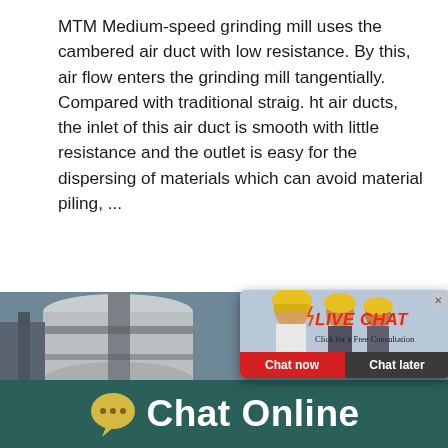MTM Medium-speed grinding mill uses the cambered air duct with low resistance. By this, air flow enters the grinding mill tangentially. Compared with traditional straig. ht air ducts, the inlet of this air duct is smooth with little resistance and the outlet is easy for the dispersing of materials which can avoid material piling, ...
[Figure (screenshot): A screenshot showing a live chat popup overlay with workers in yellow hard hats in the background, red 'LIVE CHAT' heading, 'Click for a Free Consultation' text, red 'Chat now' and dark 'Chat later' buttons, and a blue right panel with a cone crusher machine image and 'Click me to chat>>' button. Below is an industrial machinery scene in the background.]
Chat Online